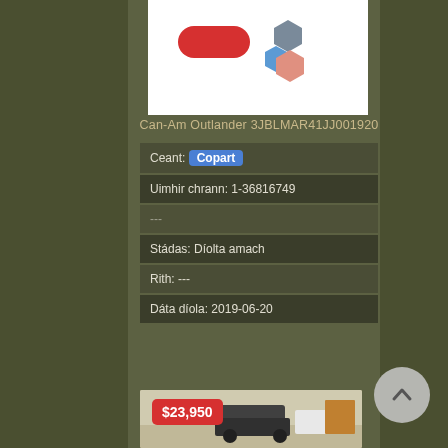[Figure (logo): Logo with red button and colored hexagon shapes on white background]
Can-Am Outlander 3JBLMAR41JJ001920
| Ceant: | Copart |
| Uimhir chrann: 1-36816749 |
| --- |
| Stádas: Díolta amach |
| Rith: --- |
| Dáta díola: 2019-06-20 |
[Figure (photo): Vehicle listing photo with $23,950 price badge in red]
$23,950